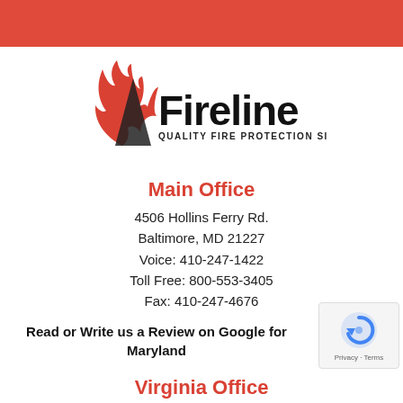[Figure (logo): Fireline logo with red flame graphic and tagline 'QUALITY FIRE PROTECTION SINCE 1947']
Main Office
4506 Hollins Ferry Rd.
Baltimore, MD 21227
Voice: 410-247-1422
Toll Free: 800-553-3405
Fax: 410-247-4676
Read or Write us a Review on Google for Maryland
[Figure (other): reCAPTCHA badge with Privacy and Terms links]
Virginia Office